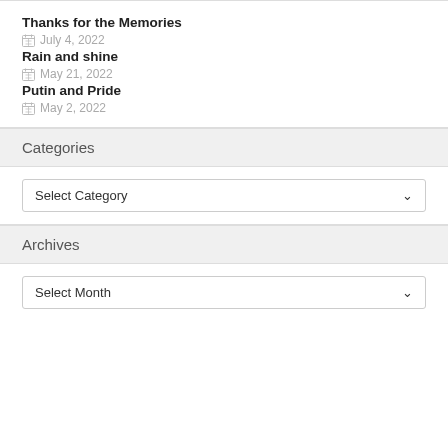Thanks for the Memories
July 4, 2022
Rain and shine
May 21, 2022
Putin and Pride
May 2, 2022
Categories
Select Category
Archives
Select Month